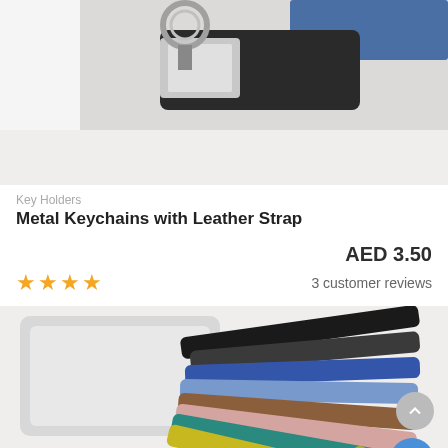[Figure (photo): Photo of a metal keychain with black leather strap and silver metal ring at top, on white background]
Key Holders
Metal Keychains with Leather Strap
AED 3.50
3 customer reviews
[Figure (photo): Photo of multiple colorful leather key straps in various colors (black, blue, light blue, brown, pink, teal, yellow) fanned out on white background]